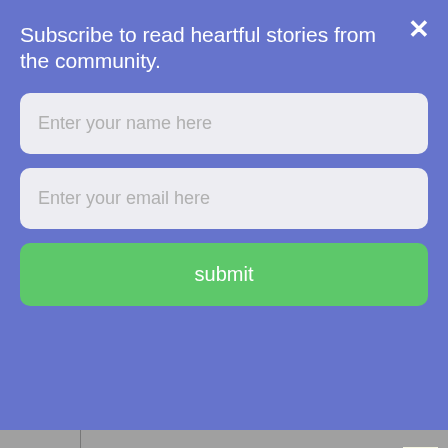Subscribe to read heartful stories from the community.
Enter your name here
Enter your email here
submit
[Figure (photo): Partial image strip visible behind modal overlay, with a VT logo badge in the corner]
⚡by Convertful
I recently participated in a Tamil TV show called Nijangal hosted by Mrs. Kushboo. We spoke about LGBTQ issues and the host asked if my parents knew about me and if they were supportive and I said my mother is okay with me being gay but my father doesn't know. My father being technologically dumb took another two weeks for another relative to tell him about the show and he questioned me about how I identified myself to be gay and why I did not